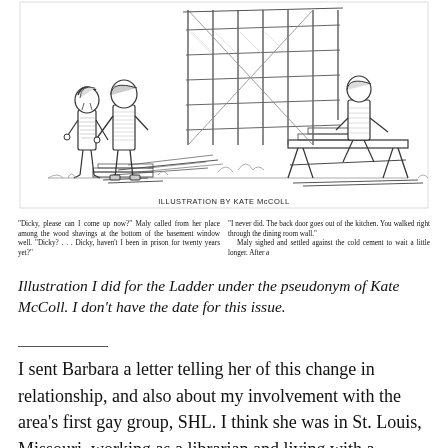[Figure (illustration): Black and white pen-and-ink illustration showing children near a basement window well with wood shavings on the ground; another child sits at a workbench. Caption reads 'ILLUSTRATION BY KATE McCOLL'.]
"Dicky, please can I come up now?" Maly called from her place among the wood shavings at the bottom of the basement window well. "Dicky? . . . Dicky, haven't I been in prison for twenty years yet?"
"I never did. The back door goes out of the kitchen. You walked right through the dining room wall."
 Maly sighed and settled against the cold cement to wait a little longer. After a
Illustration I did for the Ladder under the pseudonym of Kate McColl. I don't have the date for this issue.
I sent Barbara a letter telling her of this change in relationship, and also about my involvement with the area's first gay group, SHL. I think she was in St. Louis, Missouri, working as a librarian and living with a partner, Helen. Her response